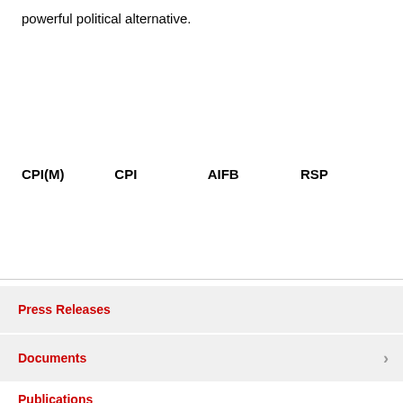powerful political alternative.
CPI(M)    CPI    AIFB    RSP
Press Releases
Documents
Publications